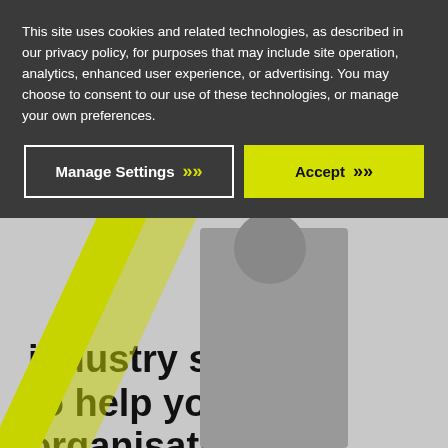[Figure (screenshot): Website screenshot showing a light gray background with partial hero text reading 'industry software to help your organisation thrive.' and a black 'Get started' button with yellow chevrons. Yellow diagonal stripes and a partial person photo are visible in the lower portion.]
This site uses cookies and related technologies, as described in our privacy policy, for purposes that may include site operation, analytics, enhanced user experience, or advertising. You may choose to consent to our use of these technologies, or manage your own preferences.
Manage Settings >>
Accept >>